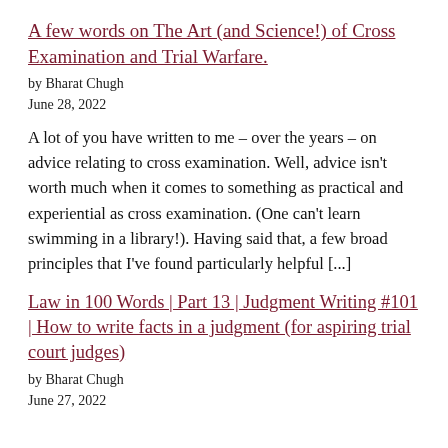A few words on The Art (and Science!) of Cross Examination and Trial Warfare.
by Bharat Chugh
June 28, 2022
A lot of you have written to me – over the years – on advice relating to cross examination. Well, advice isn't worth much when it comes to something as practical and experiential as cross examination. (One can't learn swimming in a library!). Having said that, a few broad principles that I've found particularly helpful [...]
Law in 100 Words | Part 13 | Judgment Writing #101 | How to write facts in a judgment (for aspiring trial court judges)
by Bharat Chugh
June 27, 2022